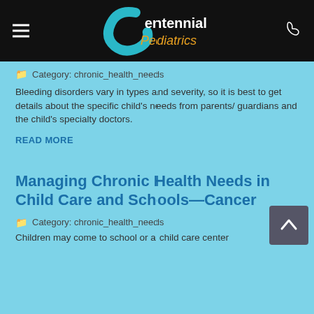Centennial Pediatrics
Category: chronic_health_needs
Bleeding disorders vary in types and severity, so it is best to get details about the specific child's needs from parents/ guardians and the child's specialty doctors.
READ MORE
Managing Chronic Health Needs in Child Care and Schools—Cancer
Category: chronic_health_needs
Children may come to school or a child care center